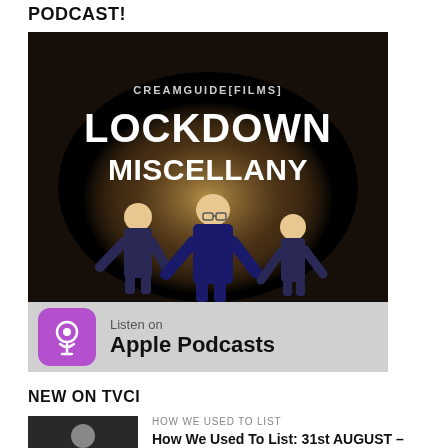PODCAST!
[Figure (illustration): Podcast cover art for 'Lockdown Miscellany' by Creamguide Films, showing animated characters in dark suits against a spotlight on a brick wall background, with an Apple Podcasts 'Listen on' badge below.]
NEW ON TVCI
HOW WE USED TO LIST
How We Used To List: 31st AUGUST – 6th